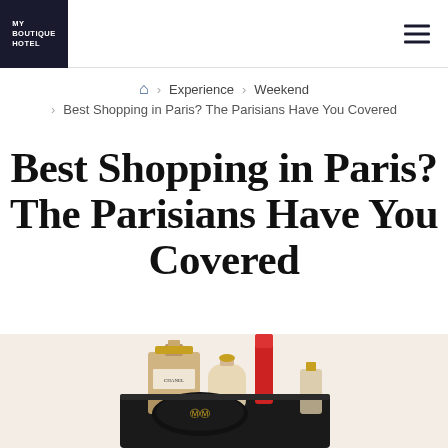MY BOUTIQUE HOTEL
Home > Experience > Weekend > Best Shopping in Paris? The Parisians Have You Covered
Best Shopping in Paris? The Parisians Have You Covered
[Figure (photo): Chanel perfume bottles and cosmetics arranged in a shopping basket on a white background]